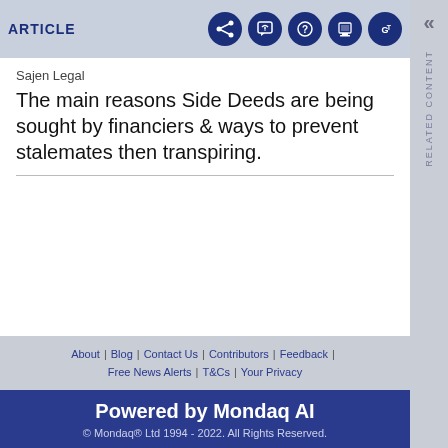ARTICLE
Sajen Legal
The main reasons Side Deeds are being sought by financiers & ways to prevent stalemates then transpiring.
About | Blog | Contact Us | Contributors | Feedback | Free News Alerts | T&Cs | Your Privacy
Powered by Mondaq AI
© Mondaq® Ltd 1994 - 2022. All Rights Reserved.